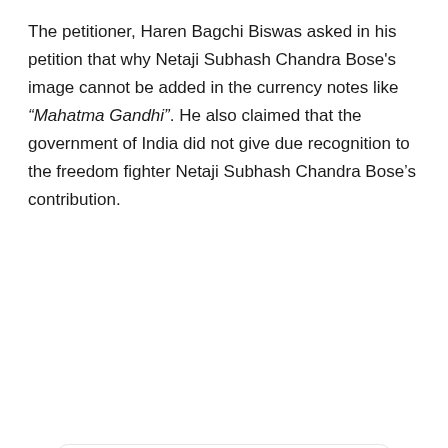The petitioner, Haren Bagchi Biswas asked in his petition that why Netaji Subhash Chandra Bose's image cannot be added in the currency notes like “Mahatma Gandhi”. He also claimed that the government of India did not give due recognition to the freedom fighter Netaji Subhash Chandra Bose’s contribution.
[Figure (screenshot): Tweet from @LiveAdalat: 'The #Calcutta #HighCourt on Monday has sought the Union government's response in a Public Interest Litigation (PIL) seeking directions to print images of Netaji Subhash Chandra Bose pictures in Indian currency notes', with a black and white photo of a person wearing a military-style cap.]